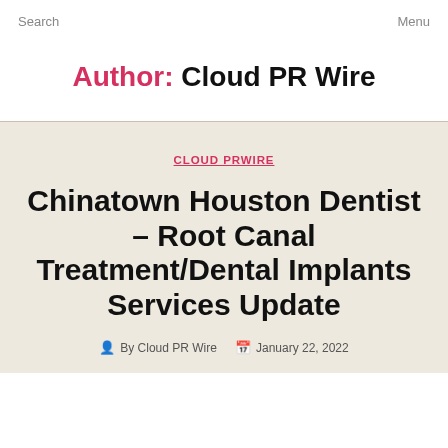Search	Menu
Author: Cloud PR Wire
CLOUD PRWIRE
Chinatown Houston Dentist – Root Canal Treatment/Dental Implants Services Update
By Cloud PR Wire   January 22, 2022